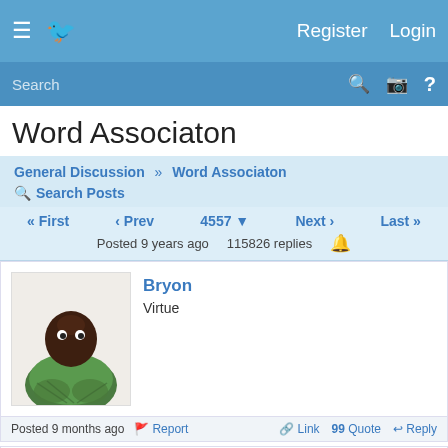≡  [site icon]   Register   Login
Search
Word Associaton
General Discussion » Word Associaton
🔍 Search Posts
« First   ‹ Prev   4557 ▾   Next ›   Last »
Posted 9 years ago   115826 replies   🔔
Bryon
Virtue
Posted 9 months ago   🚩 Report   🔗 Link   99 Quote   ↩ Reply
Background Pony #8356
Kindness